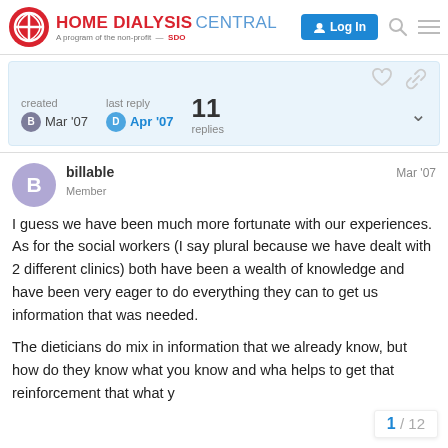HOME DIALYSIS CENTRAL — Log In
created Mar '07  last reply Apr '07  11 replies
billable Member Mar '07

I guess we have been much more fortunate with our experiences. As for the social workers (I say plural because we have dealt with 2 different clinics) both have been a wealth of knowledge and have been very eager to do everything they can to get us information that was needed.

The dieticians do mix in information that we already know, but how do they know what you know and wha... helps to get that reinforcement that what y...
1 / 12